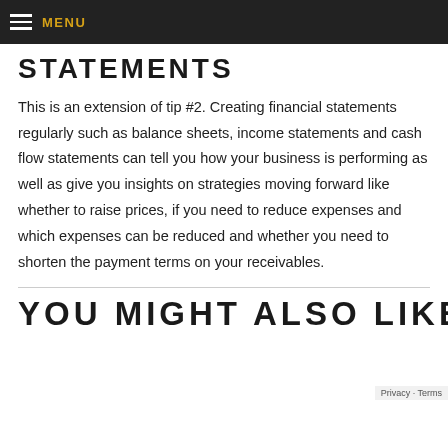MENU
STATEMENTS
This is an extension of tip #2. Creating financial statements regularly such as balance sheets, income statements and cash flow statements can tell you how your business is performing as well as give you insights on strategies moving forward like whether to raise prices, if you need to reduce expenses and which expenses can be reduced and whether you need to shorten the payment terms on your receivables.
YOU MIGHT ALSO LIKE